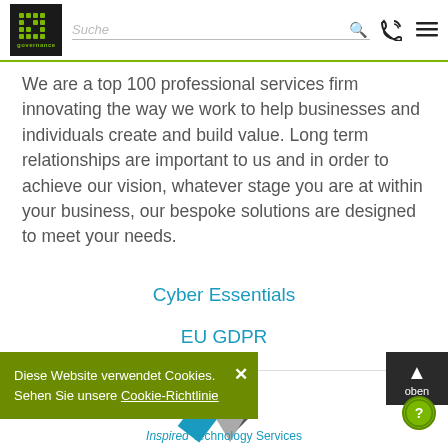[Figure (logo): IT Governance logo - black square with green dot matrix pattern and 'governance' text below]
We are a top 100 professional services firm innovating the way we work to help businesses and individuals create and build value. Long term relationships are important to us and in order to achieve our vision, whatever stage you are at within your business, our bespoke solutions are designed to meet your needs.
Cyber Essentials
EU GDPR
Diese Website verwendet Cookies. Sehen Sie unsere Cookie-Richtlinie
[Figure (logo): Inspired Technology Services logo - geometric angular shape in teal, dark grey and light grey]
Inspired Technology Services